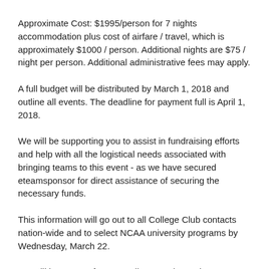Approximate Cost: $1995/person for 7 nights accommodation plus cost of airfare / travel, which is approximately $1000 / person.  Additional nights are $75 / night per person.  Additional administrative fees may apply.
A full budget will be distributed by March 1, 2018 and outline all events.  The deadline for payment full is April 1, 2018.
We will be supporting you to assist in fundraising efforts and help with all the logistical needs associated with bringing teams to this event - as we have secured eteamsponsor for direct assistance of securing the necessary funds.
This information will go out to all College Club contacts nation-wide and to select NCAA university programs by Wednesday, March 22.
We will have a conference call on Sunday, February 18 at